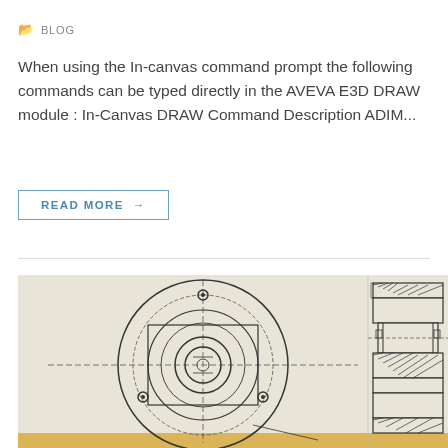BLOG
When using the In-canvas command prompt the following commands can be typed directly in the AVEVA E3D DRAW module : In-Canvas DRAW Command Description ADIM...
READ MORE →
[Figure (engineering-diagram): Engineering technical drawing showing two views of a mechanical flange/coupling assembly: left view is a front circular view showing bolt holes, concentric circles and cross-hairs; right view is a cross-sectional side view showing the internal structure with hatching patterns indicating solid material sections.]